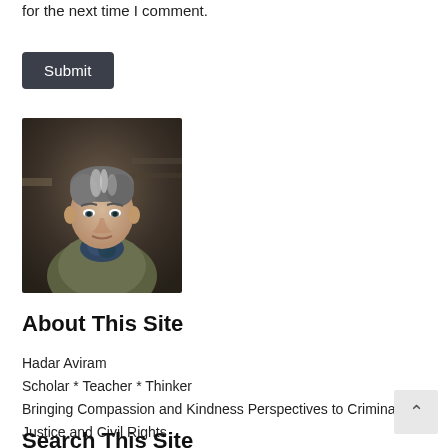for the next time I comment.
Submit
[Figure (photo): Portrait photo of a person with gray-streaked hair wearing a green jacket and colorful scarf, photographed indoors with a dark background.]
About This Site
Hadar Aviram
Scholar * Teacher * Thinker
Bringing Compassion and Kindness Perspectives to Criminal Justice and Civil Rights
Search This Site